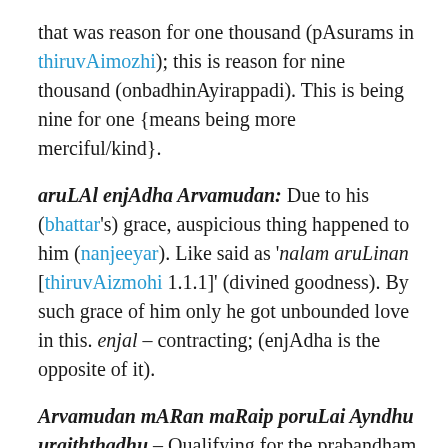that was reason for one thousand (pAsurams in thiruvAimozhi); this is reason for nine thousand (onbadhinAyirappadi). This is being nine for one {means being more merciful/kind}.
aruLAl enjAdha Arvamudan: Due to his (bhattar's) grace, auspicious thing happened to him (nanjeeyar). Like said as 'nalam aruLinan [thiruvAizmohi 1.1.1]' (divined goodness). By such grace of him only he got unbounded love in this. enjal – contracting; (enjAdha is the opposite of it).
Arvamudan mARan maRaip poruLai Ayndhu uraiththadhu – Qualifying for the prabandham of one having 'ArAdha kAdhal'' (never-satiating love), with love as said in 'Arvam peruga [thiruvAimozhi 3.5.8]' (overflowing love), and thinking through the meanings of thamizh yEdham thiruvAimozhi that is 'mARan